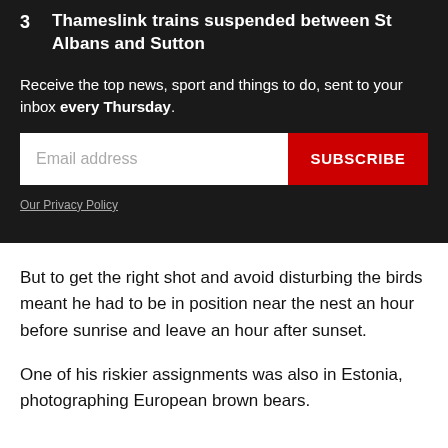3  Thameslink trains suspended between St Albans and Sutton
Receive the top news, sport and things to do, sent to your inbox every Thursday.
[Figure (screenshot): Email newsletter signup form with an email address input field and a red SUBSCRIBE button]
Our Privacy Policy
But to get the right shot and avoid disturbing the birds meant he had to be in position near the nest an hour before sunrise and leave an hour after sunset.
One of his riskier assignments was also in Estonia, photographing European brown bears.